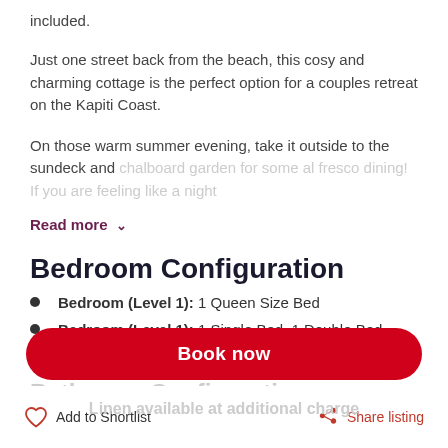included.
Just one street back from the beach, this cosy and charming cottage is the perfect option for a couples retreat on the Kapiti Coast.
On those warm summer evening, take it outside to the sundeck and [faded text continues]
Read more ∨
Bedroom Configuration
Bedroom (Level 1): 1 Queen Size Bed
Bedroom (Level 1): 1 Single Bed, 1 Double Bed
Lounge (Level 1): 1 Sofa Bed
Bathroom Configuration
Book now
Add to Shortlist
Share listing
Linen available at additional charge